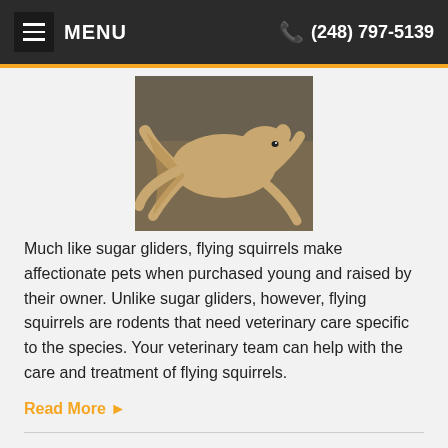MENU  (248) 797-5139
[Figure (photo): A flying squirrel photographed mid-glide against a blurred background]
Much like sugar gliders, flying squirrels make affectionate pets when purchased young and raised by their owner. Unlike sugar gliders, however, flying squirrels are rodents that need veterinary care specific to the species. Your veterinary team can help with the care and treatment of flying squirrels.
Read More ▶
Fennec Foxes
[Figure (photo): Partial photo of a fennec fox, partially visible at the bottom of the page]